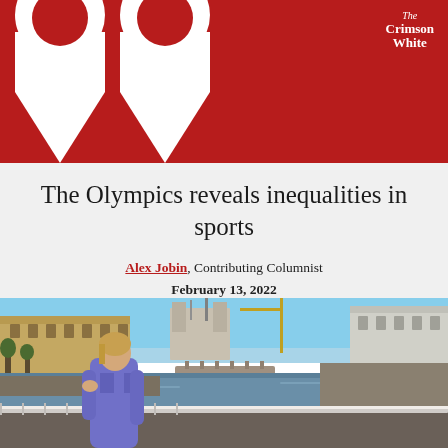[Figure (illustration): Red banner header with large white quotation mark graphic and The Crimson White newspaper logo in top right corner]
The Olympics reveals inequalities in sports
Alex Jobin, Contributing Columnist
February 13, 2022
[Figure (photo): Woman in purple coat standing on a bridge over the Seine river in Paris, with Notre-Dame Cathedral visible in the background under a clear blue sky]